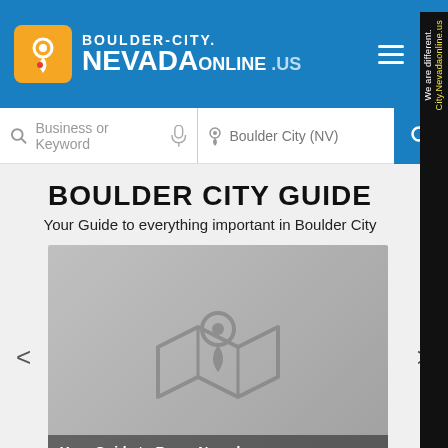BOULDER-CITY. NEVADAONLINE .US
BOULDER CITY GUIDE
Your Guide to everything important in Boulder City
[Figure (screenshot): Carousel slide showing a map-pin icon over a folded map graphic on a gray background with label 'Your Guide to Reno, Nevada']
Your Guide to Reno, Nevada
We are different. City.Nevadaonline.us